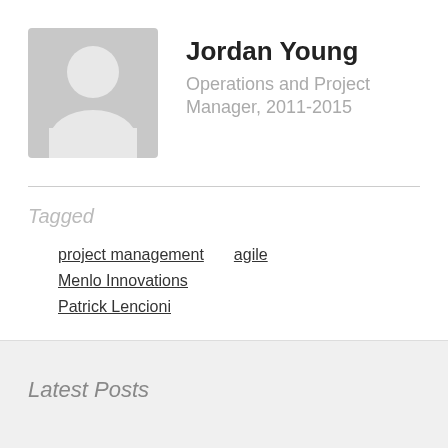[Figure (illustration): Gray silhouette avatar placeholder image of a person]
Jordan Young
Operations and Project Manager, 2011-2015
Tagged
project management
agile
Menlo Innovations
Patrick Lencioni
Latest Posts